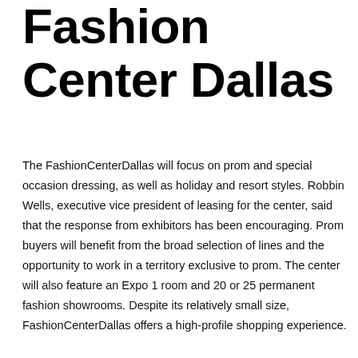Fashion Center Dallas
The FashionCenterDallas will focus on prom and special occasion dressing, as well as holiday and resort styles. Robbin Wells, executive vice president of leasing for the center, said that the response from exhibitors has been encouraging. Prom buyers will benefit from the broad selection of lines and the opportunity to work in a territory exclusive to prom. The center will also feature an Expo 1 room and 20 or 25 permanent fashion showrooms. Despite its relatively small size, FashionCenterDallas offers a high-profile shopping experience.